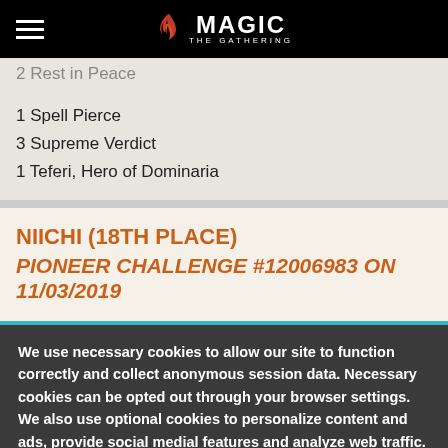MAGIC THE GATHERING
2 Rest in Peace
1 Spell Pierce
3 Supreme Verdict
1 Teferi, Hero of Dominaria
NIICHI (18TH PLACE) PIONEER CHALLENGE #12006983 ON 11/03/2019
We use necessary cookies to allow our site to function correctly and collect anonymous session data. Necessary cookies can be opted out through your browser settings. We also use optional cookies to personalize content and ads, provide social medial features and analyze web traffic. By clicking “OK, I agree,” you consent to optional cookies. (Learn more about cookies.)
OK, I agree   No, thanks